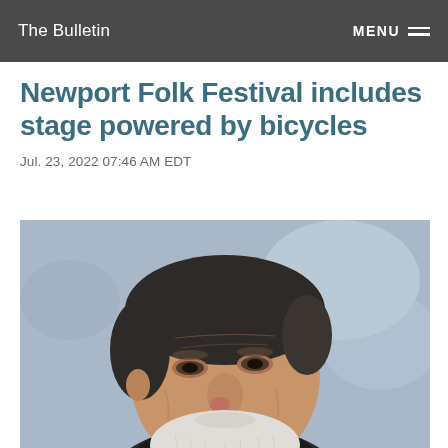The Bulletin  MENU
Newport Folk Festival includes stage powered by bicycles
Jul. 23, 2022 07:46 AM EDT
[Figure (photo): Close-up portrait of an elderly man with a white beard, looking upward, outdoor background with soft blue-gray bokeh]